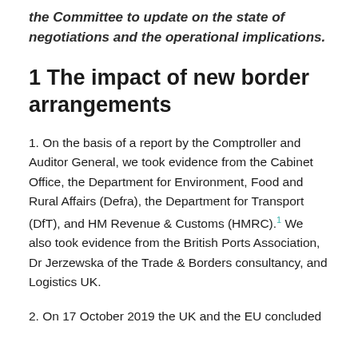the Committee to update on the state of negotiations and the operational implications.
1 The impact of new border arrangements
1. On the basis of a report by the Comptroller and Auditor General, we took evidence from the Cabinet Office, the Department for Environment, Food and Rural Affairs (Defra), the Department for Transport (DfT), and HM Revenue & Customs (HMRC).¹ We also took evidence from the British Ports Association, Dr Jerzewska of the Trade & Borders consultancy, and Logistics UK.
2. On 17 October 2019 the UK and the EU concluded